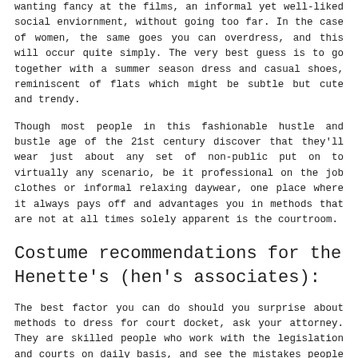wanting fancy at the films, an informal yet well-liked social enviornment, without going too far. In the case of women, the same goes you can overdress, and this will occur quite simply. The very best guess is to go together with a summer season dress and casual shoes, reminiscent of flats which might be subtle but cute and trendy.
Though most people in this fashionable hustle and bustle age of the 21st century discover that they'll wear just about any set of non-public put on to virtually any scenario, be it professional on the job clothes or informal relaxing daywear, one place where it always pays off and advantages you in methods that are not at all times solely apparent is the courtroom.
Costume recommendations for the Henette's (hen's associates):
The best factor you can do should you surprise about methods to dress for court docket, ask your attorney. They are skilled people who work with the legislation and courts on daily basis, and see the mistakes people make and may provide tips on the way to keep away from them or right them. It's also simply good apply to listen to your